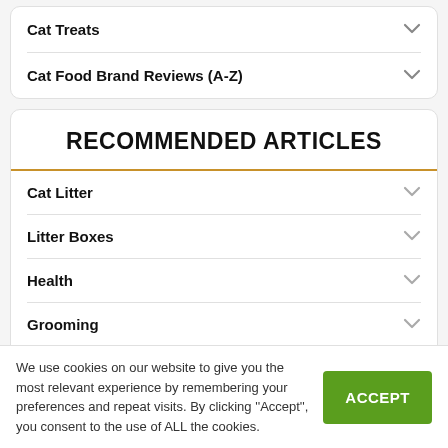Cat Treats
Cat Food Brand Reviews (A-Z)
RECOMMENDED ARTICLES
Cat Litter
Litter Boxes
Health
Grooming
Toys
We use cookies on our website to give you the most relevant experience by remembering your preferences and repeat visits. By clicking ''Accept'', you consent to the use of ALL the cookies.